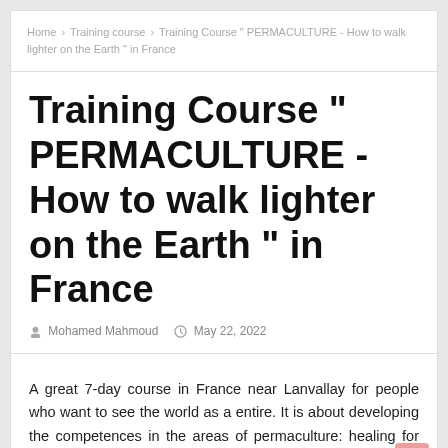Home › Training course › Training Course " PERMACULTURE - How to walk lighter on the Earth " in France
Training Course " PERMACULTURE - How to walk lighter on the Earth " in France
Mohamed Mahmoud   May 22, 2022
A great 7-day course in France near Lanvallay for people who want to see the world as a entire. It is about developing the competences in the areas of permaculture: healing for nature and Earth, housing...